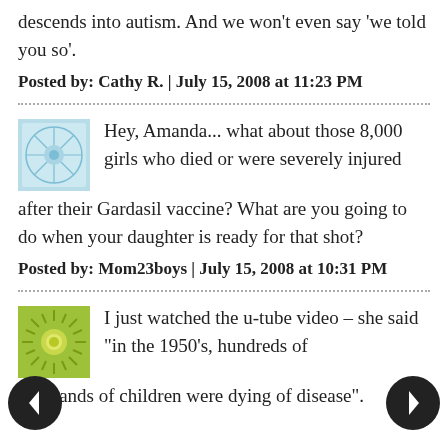descends into autism. And we won't even say 'we told you so'.
Posted by: Cathy R. | July 15, 2008 at 11:23 PM
Hey, Amanda... what about those 8,000 girls who died or were severely injured after their Gardasil vaccine? What are you going to do when your daughter is ready for that shot?
Posted by: Mom23boys | July 15, 2008 at 10:31 PM
I just watched the u-tube video – she said "in the 1950's, hundreds of thousands of children were dying of disease".